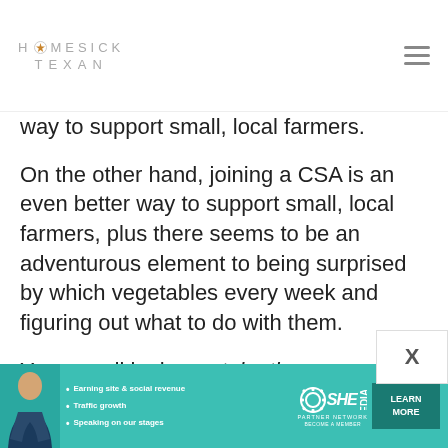HOMESICK TEXAN
way to support small, local farmers.
On the other hand, joining a CSA is an even better way to support small, local farmers, plus there seems to be an adventurous element to being surprised by which vegetables every week and figuring out what to do with them.
Your gnudi look great, by the way.
[Figure (screenshot): Advertisement banner for SHE Media Partner Network featuring a woman, bullet points about earning site and social revenue, traffic growth, speaking on stages, and a Learn More button.]